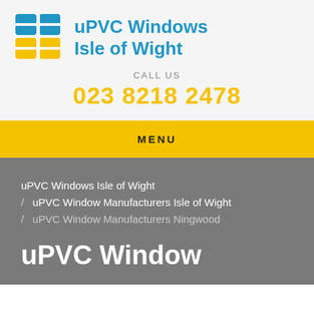[Figure (logo): uPVC Windows Isle of Wight logo with blue and yellow grid/window icon and blue text]
CALL US
023 8218 2478
MENU
uPVC Windows Isle of Wight / uPVC Window Manufacturers Isle of Wight / uPVC Window Manufacturers Ningwood
uPVC Window